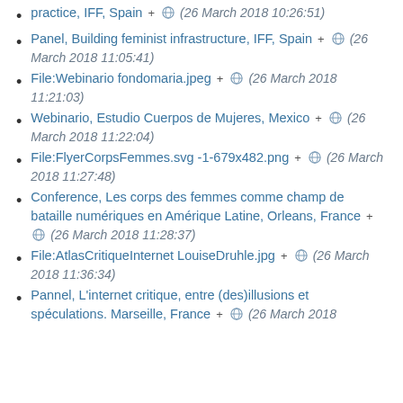practice, IFF, Spain + ⊕ (26 March 2018 10:26:51)
Panel, Building feminist infrastructure, IFF, Spain + ⊕ (26 March 2018 11:05:41)
File:Webinario fondomaria.jpeg + ⊕ (26 March 2018 11:21:03)
Webinario, Estudio Cuerpos de Mujeres, Mexico + ⊕ (26 March 2018 11:22:04)
File:FlyerCorpsFemmes.svg -1-679x482.png + ⊕ (26 March 2018 11:27:48)
Conference, Les corps des femmes comme champ de bataille numériques en Amérique Latine, Orleans, France + ⊕ (26 March 2018 11:28:37)
File:AtlasCritiqueInternet LouiseDruhle.jpg + ⊕ (26 March 2018 11:36:34)
Pannel, L'internet critique, entre (des)illusions et spéculations. Marseille, France + ⊕ (26 March 2018 11:36:43)